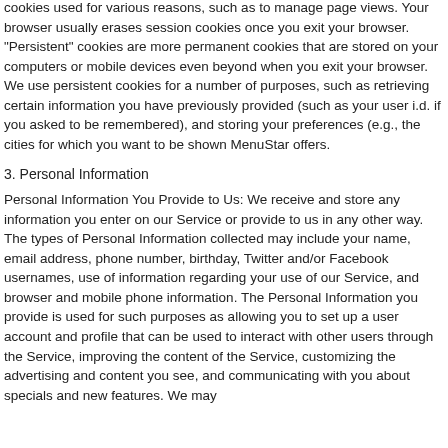cookies used for various reasons, such as to manage page views. Your browser usually erases session cookies once you exit your browser. "Persistent" cookies are more permanent cookies that are stored on your computers or mobile devices even beyond when you exit your browser. We use persistent cookies for a number of purposes, such as retrieving certain information you have previously provided (such as your user i.d. if you asked to be remembered), and storing your preferences (e.g., the cities for which you want to be shown MenuStar offers.
3. Personal Information
Personal Information You Provide to Us: We receive and store any information you enter on our Service or provide to us in any other way. The types of Personal Information collected may include your name, email address, phone number, birthday, Twitter and/or Facebook usernames, use of information regarding your use of our Service, and browser and mobile phone information. The Personal Information you provide is used for such purposes as allowing you to set up a user account and profile that can be used to interact with other users through the Service, improving the content of the Service, customizing the advertising and content you see, and communicating with you about specials and new features. We may